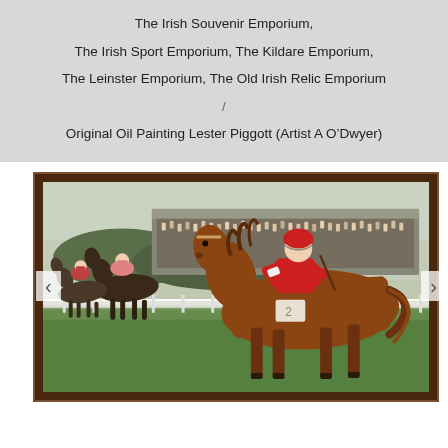The Irish Souvenir Emporium, The Irish Sport Emporium, The Kildare Emporium, The Leinster Emporium, The Old Irish Relic Emporium / Original Oil Painting Lester Piggott (Artist A O’Dwyer)
[Figure (photo): Framed oil painting showing a horse race scene. A jockey in red silks on a chestnut horse leads the race in the foreground, with other jockeys and horses behind. A large crowd and grandstand are visible in the background. The painting has a dark wooden frame. Navigation arrows (< and >) are visible on either side of the image.]